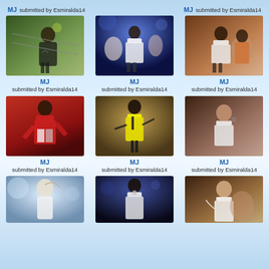MJ
submitted by Esmiralda14
MJ
submitted by Esmiralda14
[Figure (photo): Michael Jackson performing on stage, green/yellow toned photo]
[Figure (photo): Michael Jackson performing with dancers, blue stage lighting]
[Figure (photo): Michael Jackson dancing with another performer, warm tones]
MJ
submitted by Esmiralda14
MJ
submitted by Esmiralda14
MJ
submitted by Esmiralda14
[Figure (photo): Michael Jackson in red jacket, energetic pose]
[Figure (photo): Michael Jackson in yellow shirt with arms outstretched]
[Figure (photo): Michael Jackson in white shirt, contemplative pose]
MJ
submitted by Esmiralda14
MJ
submitted by Esmiralda14
MJ
submitted by Esmiralda14
[Figure (photo): Michael Jackson in white, aerial/suspended pose]
[Figure (photo): Michael Jackson performing on stage with microphone stand]
[Figure (photo): Michael Jackson in white shirt singing, crowd behind]